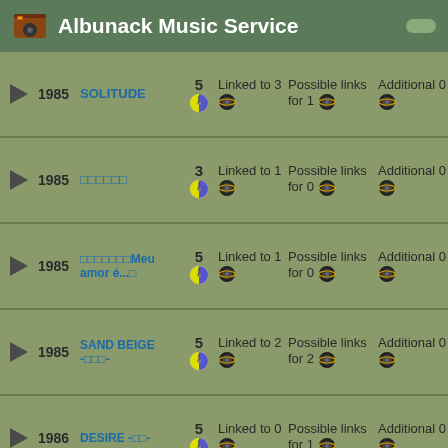Albunack Music Service
|  | Year | Title | Rating | Linked | Possible links | Additional |
| --- | --- | --- | --- | --- | --- | --- |
| ▶ | 1985 | SOLITUDE | 5 | Linked to 3 | Possible links for 1 | Additional 0 |
| ▶ | 1985 | □□□□□□ | 3 | Linked to 1 | Possible links for 0 | Additional 0 |
| ▶ | 1985 | □□□□□□□Meu amor é...□ | 5 | Linked to 1 | Possible links for 0 | Additional 0 |
| ▶ | 1985 | SAND BEIGE -□□□- | 5 | Linked to 2 | Possible links for 2 | Additional 0 |
| ▶ | 1986 | DESIRE -□□- | 5 | Linked to 0 | Possible links for 1 | Additional 0 |